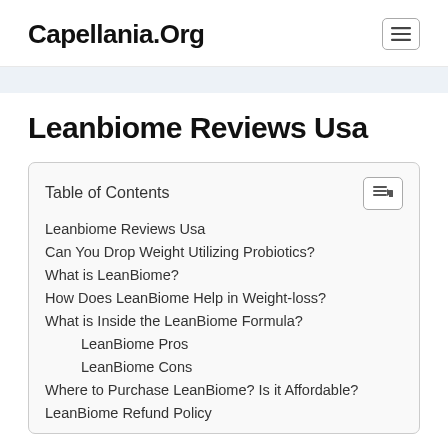Capellania.Org
Leanbiome Reviews Usa
| Table of Contents |
| --- |
| Leanbiome Reviews Usa |
| Can You Drop Weight Utilizing Probiotics? |
| What is LeanBiome? |
| How Does LeanBiome Help in Weight-loss? |
| What is Inside the LeanBiome Formula? |
| LeanBiome Pros |
| LeanBiome Cons |
| Where to Purchase LeanBiome? Is it Affordable? |
| LeanBiome Refund Policy |